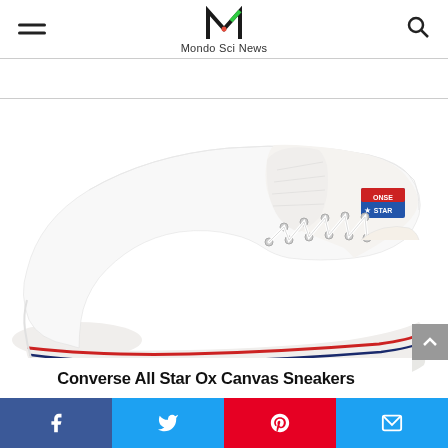Mondo Sci News
[Figure (photo): White Converse All Star Ox low-top canvas sneaker on white background, showing red and navy stripe along sole, silver eyelets, and Converse logo patch on ankle.]
Converse All Star Ox Canvas Sneakers
Facebook | Twitter | Pinterest | Email